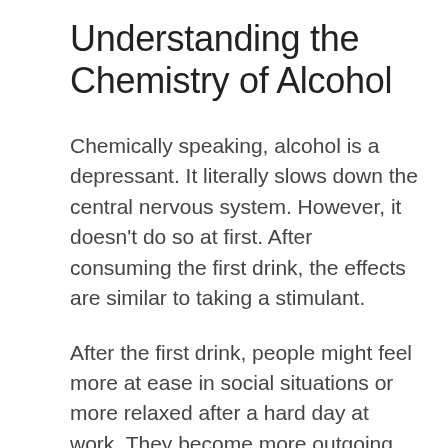Understanding the Chemistry of Alcohol
Chemically speaking, alcohol is a depressant. It literally slows down the central nervous system. However, it doesn't do so at first. After consuming the first drink, the effects are similar to taking a stimulant.
After the first drink, people might feel more at ease in social situations or more relaxed after a hard day at work. They become more outgoing and shed some inhibitions. Once they drink more than what their systems can handle, however, the drug's depressant qualities com